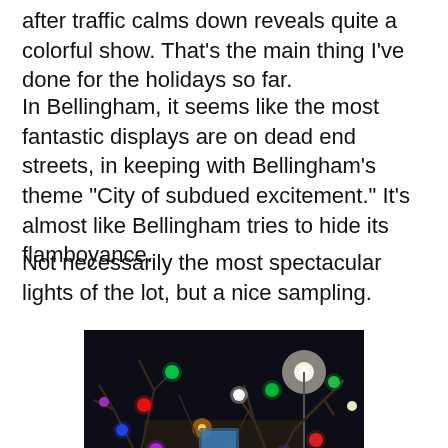after traffic calms down reveals quite a colorful show. That's the main thing I've done for the holidays so far.
In Bellingham, it seems like the most fantastic displays are on dead end streets, in keeping with Bellingham's theme "City of subdued excitement." It's almost like Bellingham tries to hide its flamboyance.
Not necessarily the most spectacular lights of the lot, but a nice sampling.
[Figure (photo): Night photo of bare winter trees decorated with large colorful Christmas light bulbs (red, green, blue, purple, white) with a street scene and traffic lights visible in the background, appearing to be taken in Bellingham during winter with snow on the ground.]